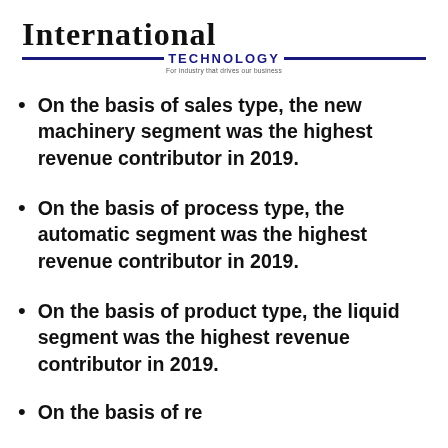International TECHNOLOGY
On the basis of sales type, the new machinery segment was the highest revenue contributor in 2019.
On the basis of process type, the automatic segment was the highest revenue contributor in 2019.
On the basis of product type, the liquid segment was the highest revenue contributor in 2019.
On the basis of ...